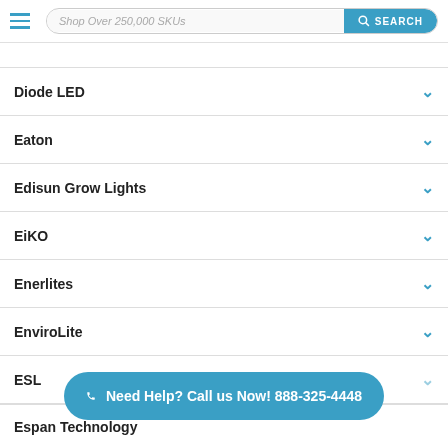Shop Over 250,000 SKUs — SEARCH
Diode LED
Eaton
Edisun Grow Lights
EiKO
Enerlites
EnviroLite
ESL
Espan Technology
Need Help? Call us Now! 888-325-4448